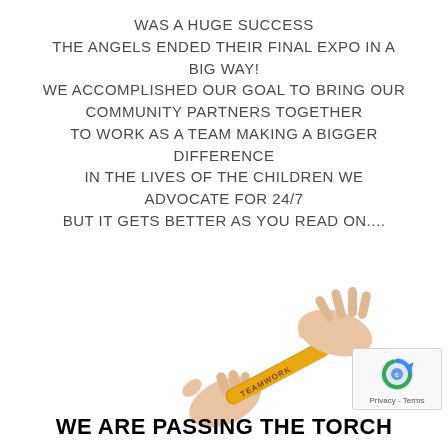WAS A HUGE SUCCESS THE ANGELS ENDED THEIR FINAL EXPO IN A BIG WAY! WE ACCOMPLISHED OUR GOAL TO BRING OUR COMMUNITY PARTNERS TOGETHER TO WORK AS A TEAM MAKING A BIGGER DIFFERENCE IN THE LIVES OF THE CHILDREN WE ADVOCATE FOR 24/7 BUT IT GETS BETTER AS YOU READ ON....
[Figure (photo): Two hands passing a baton labeled 'TEAMWORK' — one hand holding the baton from the lower left, another hand reaching to receive it from the upper right.]
WE ARE PASSING THE TORCH